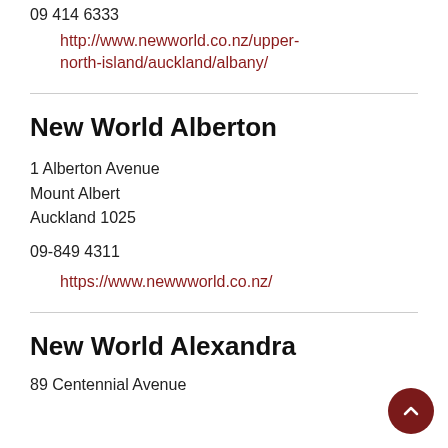09 414 6333
http://www.newworld.co.nz/upper-north-island/auckland/albany/
New World Alberton
1 Alberton Avenue
Mount Albert
Auckland 1025
09-849 4311
https://www.newwworld.co.nz/
New World Alexandra
89 Centennial Avenue